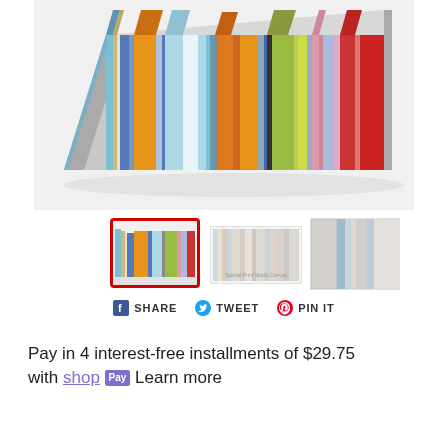[Figure (photo): A colorful striped canvas wall art shown in perspective/3D angled view. Multiple vertical stripes in blue, orange, teal, green, yellow, brown, pink, red and other colors.]
[Figure (photo): Thumbnail 1 (selected, red border): colorful striped canvas art, angled view.]
[Figure (photo): Thumbnail 2: lighter pastel striped canvas art, flat view.]
[Figure (photo): Thumbnail 3: close-up corner of canvas with blue and beige stripes.]
SHARE   TWEET   PIN IT
Pay in 4 interest-free installments of $29.75 with shop  Learn more